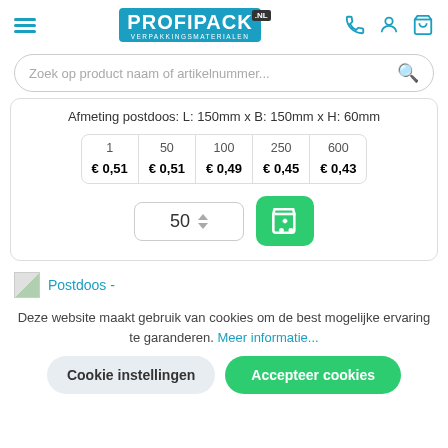PROFIPACK.NL VERPAKKINGSMATERIALEN
Zoek op product naam of artikelnummer...
Afmeting postdoos: L: 150mm x B: 150mm x H: 60mm
| 1 | 50 | 100 | 250 | 600 |
| --- | --- | --- | --- | --- |
| € 0,51 | € 0,51 | € 0,49 | € 0,45 | € 0,43 |
50
Postdoos -
Deze website maakt gebruik van cookies om de best mogelijke ervaring te garanderen. Meer informatie...
Cookie instellingen
Accepteer cookies